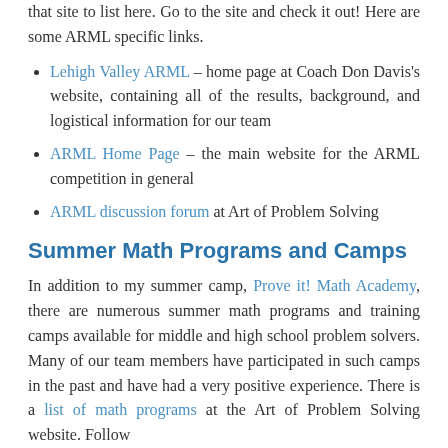that site to list here. Go to the site and check it out! Here are some ARML specific links.
Lehigh Valley ARML – home page at Coach Don Davis's website, containing all of the results, background, and logistical information for our team
ARML Home Page – the main website for the ARML competition in general
ARML discussion forum at Art of Problem Solving
Summer Math Programs and Camps
In addition to my summer camp, Prove it! Math Academy, there are numerous summer math programs and training camps available for middle and high school problem solvers. Many of our team members have participated in such camps in the past and have had a very positive experience. There is a list of math programs at the Art of Problem Solving website. Follow